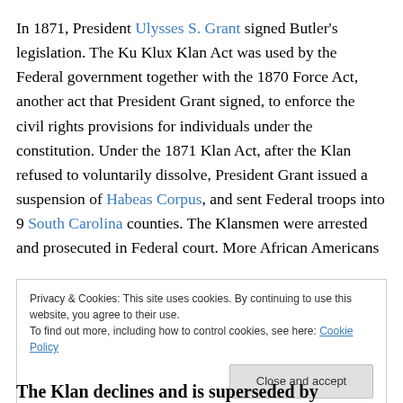In 1871, President Ulysses S. Grant signed Butler's legislation. The Ku Klux Klan Act was used by the Federal government together with the 1870 Force Act, another act that President Grant signed, to enforce the civil rights provisions for individuals under the constitution. Under the 1871 Klan Act, after the Klan refused to voluntarily dissolve, President Grant issued a suspension of Habeas Corpus, and sent Federal troops into 9 South Carolina counties. The Klansmen were arrested and prosecuted in Federal court. More African Americans
Privacy & Cookies: This site uses cookies. By continuing to use this website, you agree to their use.
To find out more, including how to control cookies, see here: Cookie Policy
The Klan declines and is superseded by